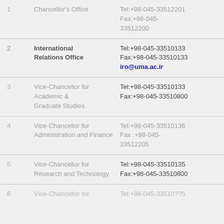| # | Office | Contact |
| --- | --- | --- |
| 1 | Chancellor's Office | Tel:+98-045-33512201
Fax:+98-045-33512200 |
| 2 | International Relations Office | Tel:+98-045-33510133
Fax:+98-045-33510133
iro@uma.ac.ir |
| 3 | Vice-Chancellor for Academic & Graduate Studies | Tel:+98-045-33510133
Fax:+98-045-33510800 |
| 4 | Vice-Chancellor for Administration and Finance | Tel:+98-045-33510136
Fax :+98-045-33512205 |
| 5 | Vice-Chancellor for Research and Technology | Tel:+98-045-33510135
Fax:+98-045-33510800 |
| 6 | Vice-Chancellor for... | Tel:+98-045-33510??5 |